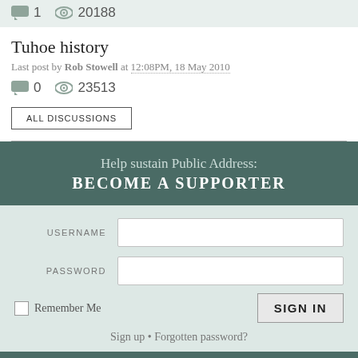1   20188
Tuhoe history
Last post by Rob Stowell at 12:08PM, 18 May 2010
0   23513
ALL DISCUSSIONS
Help sustain Public Address:
BECOME A SUPPORTER
USERNAME
PASSWORD
Remember Me
SIGN IN
Sign up • Forgotten password?
BLOGS
Hard News   Up Front